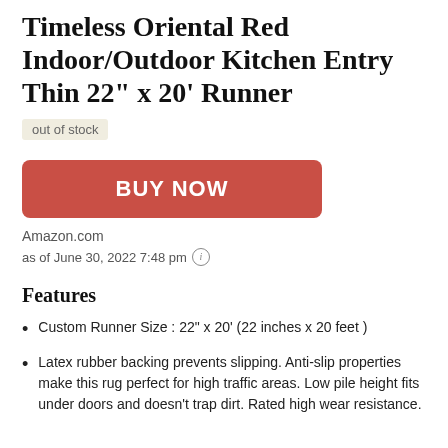Timeless Oriental Red Indoor/Outdoor Kitchen Entry Thin 22" x 20' Runner
out of stock
BUY NOW
Amazon.com
as of June 30, 2022 7:48 pm
Features
Custom Runner Size : 22" x 20' (22 inches x 20 feet )
Latex rubber backing prevents slipping. Anti-slip properties make this rug perfect for high traffic areas. Low pile height fits under doors and doesn't trap dirt. Rated high wear resistance.